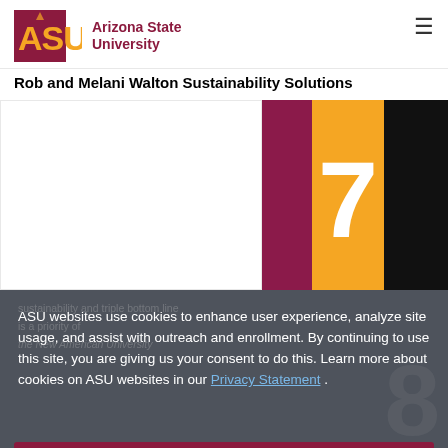ASU Arizona State University
Rob and Melani Walton Sustainability Solutions
[Figure (screenshot): Hero image area showing colored blocks: white left section, maroon vertical bar, orange section with large white number 7, black right section]
ASU websites use cookies to enhance user experience, analyze site usage, and assist with outreach and enrollment. By continuing to use this site, you are giving us your consent to do this. Learn more about cookies on ASU websites in our Privacy Statement .
I agree